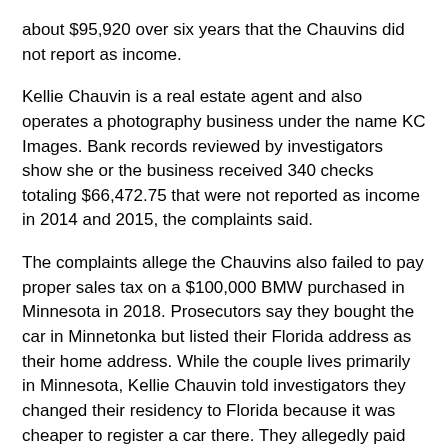about $95,920 over six years that the Chauvins did not report as income.
Kellie Chauvin is a real estate agent and also operates a photography business under the name KC Images. Bank records reviewed by investigators show she or the business received 340 checks totaling $66,472.75 that were not reported as income in 2014 and 2015, the complaints said.
The complaints allege the Chauvins also failed to pay proper sales tax on a $100,000 BMW purchased in Minnesota in 2018. Prosecutors say they bought the car in Minnetonka but listed their Florida address as their home address. While the couple lives primarily in Minnesota, Kellie Chauvin told investigators they changed their residency to Florida because it was cheaper to register a car there. They allegedly paid lower sales taxes than they would have paid in Minnesota.
The complaints also allege the Chauvins sold a rental home in